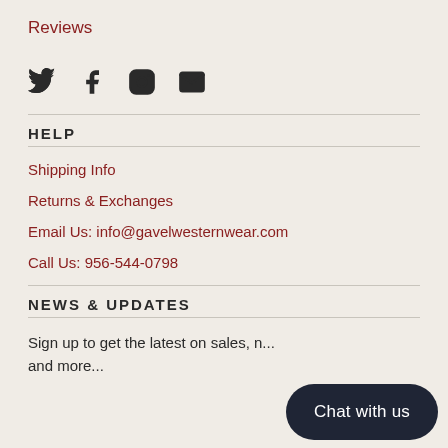Reviews
[Figure (illustration): Social media icons: Twitter bird, Facebook f, Instagram camera outline, email envelope]
HELP
Shipping Info
Returns & Exchanges
Email Us: info@gavelwesternwear.com
Call Us: 956-544-0798
NEWS & UPDATES
Sign up to get the latest on sales, n... and more...